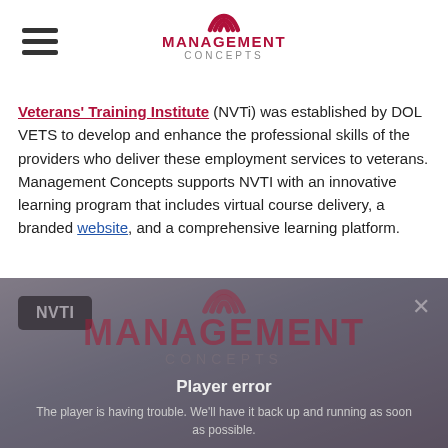Management Concepts
Veterans' Training Institute (NVTi) was established by DOL VETS to develop and enhance the professional skills of the providers who deliver these employment services to veterans. Management Concepts supports NVTI with an innovative learning program that includes virtual course delivery, a branded website, and a comprehensive learning platform.
[Figure (screenshot): Video player area showing NVTI badge label in top-left corner, a close (X) button in top-right, and a player error overlay displaying Management Concepts logo watermark with text 'Player error' and 'The player is having trouble. We'll have it back up and running as soon as possible.']